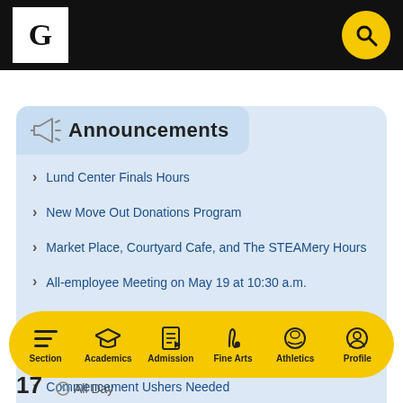Gustavus Adolphus College – navigation header with logo and search
Announcements
Lund Center Finals Hours
New Move Out Donations Program
Market Place, Courtyard Cafe, and The STEAMery Hours
All-employee Meeting on May 19 at 10:30 a.m.
Library Hours for Finals
Final Exams 2021-2022
Commencement Ushers Needed
Section | Academics | Admission | Fine Arts | Athletics | Profile